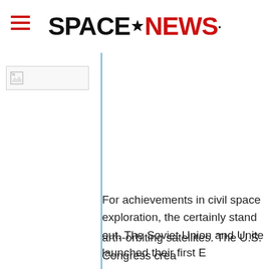SPACENEWS
[Figure (logo): SpaceNews logo with hamburger menu icon on the left and the SPACENEWS logotype centered, with SPACE in black and NEWS in red]
[Figure (photo): Broken/missing image placeholder in left column]
For achievements in civil space exploration, the certainly stand out. The Soviet Union and Unite launched their first E
arth-orbiting satellites. The U.S. Congress crea